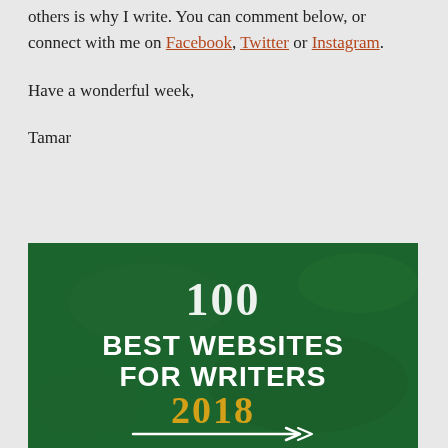others is why I write. You can comment below, or connect with me on Facebook, Twitter or Instagram.
Have a wonderful week,
Tamar
[Figure (illustration): Green chalkboard-style banner image reading '100 BEST WEBSITES FOR WRITERS 2018' with decorative arrow underline. '100' in white chalk-style lettering at top, 'BEST WEBSITES FOR WRITERS' in bold white text, '2018' in gold/yellow text, underlined with white arrow-style line.]